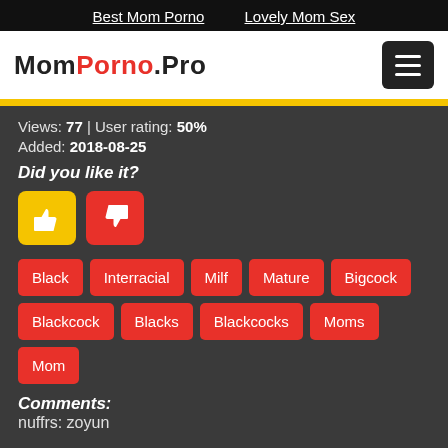Best Mom Porno   Lovely Mom Sex
MomPorno.Pro
Views: 77 | User rating: 50%
Added: 2018-08-25
Did you like it?
Black
Interracial
Milf
Mature
Bigcock
Blackcock
Blacks
Blackcocks
Moms
Mom
Comments:
nuffrs: zoyun